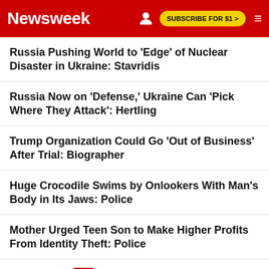Newsweek | SUBSCRIBE FOR $1 >
Russia Pushing World to 'Edge' of Nuclear Disaster in Ukraine: Stavridis
Russia Now on 'Defense,' Ukraine Can 'Pick Where They Attack': Hertling
Trump Organization Could Go 'Out of Business' After Trial: Biographer
Huge Crocodile Swims by Onlookers With Man's Body in Its Jaws: Police
Mother Urged Teen Son to Make Higher Profits From Identity Theft: Police
EDITOR'S PICK
FOOD
'We Run Two Free Grocery Stores'